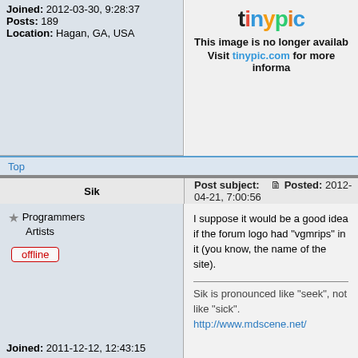Joined: 2012-03-30, 9:28:37
Posts: 189
Location: Hagan, GA, USA
[Figure (screenshot): Tinypic image placeholder showing the tinypic.com logo and the message 'This image is no longer available. Visit tinypic.com for more information.']
Top
| Sik | Post subject:   Posted: 2012-04-21, 7:00:56 |
| --- | --- |
★ Programmers Artists
offline
I suppose it would be a good idea if the forum logo had "vgmrips" in it (you know, the name of the site).

Sik is pronounced like "seek", not like "sick".
http://www.mdscene.net/
Joined: 2011-12-12, 12:43:15